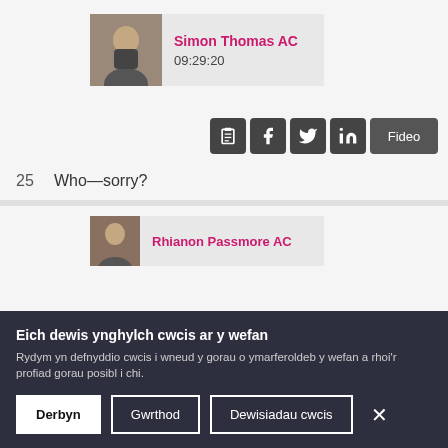[Figure (photo): Simon Thomas AC speaker card with photo, name in pink, and timestamp 09:29:20]
[Figure (infographic): Row of social/action icons: clipboard, Facebook, Twitter, LinkedIn, and Fideo (Video) button]
25  Who—sorry?
[Figure (photo): Rhianon Passmore AC speaker card with partial photo visible]
Eich dewis ynghylch cwcis ar y wefan
Rydym yn defnyddio cwcis i wneud y gorau o ymarferoldeb y wefan a rhoi'r profiad gorau posibl i chi.
Derbyn
Gwrthod
Dewisiadau cwcis